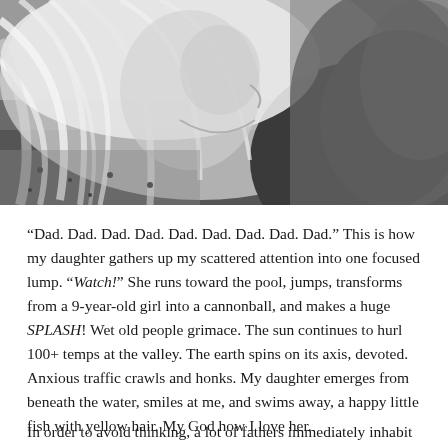[Figure (photo): Black and white photograph of a young blonde girl with long hair blowing in the wind, looking downward, wearing a textured sweater or jacket. Close-up portrait style.]
“Dad. Dad. Dad. Dad. Dad. Dad. Dad. Dad. Dad.” This is how my daughter gathers up my scattered attention into one focused lump. “Watch!” She runs toward the pool, jumps, transforms from a 9-year-old girl into a cannonball, and makes a huge SPLASH! Wet old people grimace. The sun continues to hurl 100+ temps at the valley. The earth spins on its axis, devoted. Anxious traffic crawls and honks. My daughter emerges from beneath the water, smiles at me, and swims away, a happy little fish with yellow hair. My God how I love her.
In order to avoid thinking, a lot of fathers immediately inhabit an